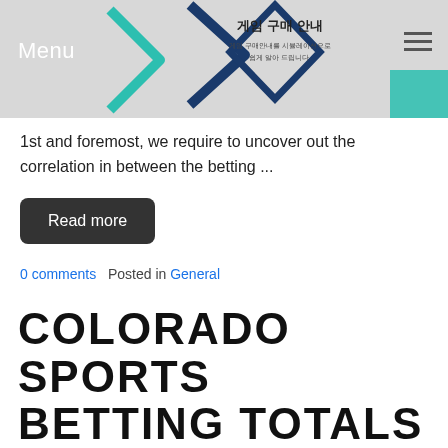Menu
[Figure (illustration): Website header banner with Korean text reading 게임 구매 안내 and decorative chevron/diamond shapes in teal and navy blue on a grey background]
1st and foremost, we require to uncover out the correlation in between the betting ...
Read more
0 comments   Posted in General
COLORADO SPORTS BETTING TOTALS $TWO 3 BILLION IN 1ST YEAR